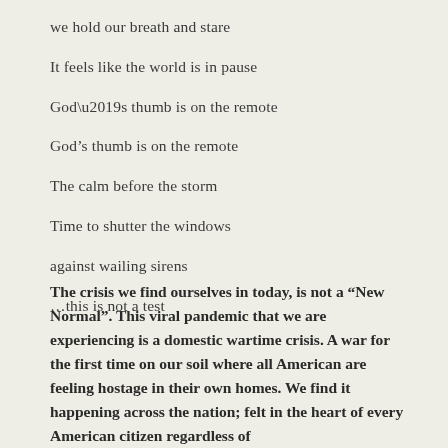we hold our breath and stare
It feels like the world is in pause
God’s thumb is on the remote
The calm before the storm
Time to shutter the windows
against wailing sirens
…this is not a test
The crisis we find ourselves in today, is not a “New Normal”. This viral pandemic that we are experiencing is a domestic wartime crisis. A war for the first time on our soil where all American are feeling hostage in their own homes. We find it happening across the nation; felt in the heart of every American citizen regardless of